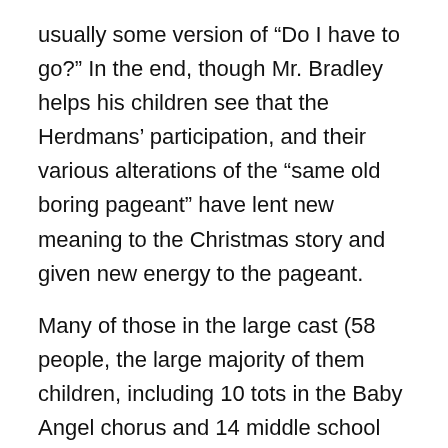usually some version of “Do I have to go?” In the end, though Mr. Bradley helps his children see that the Herdmans’ participation, and their various alterations of the “same old boring pageant” have lent new meaning to the Christmas story and given new energy to the pageant.
Many of those in the large cast (58 people, the large majority of them children, including 10 tots in the Baby Angel chorus and 14 middle school children in the Angel Choir) do not have extensive acting experience, in keeping with the Theatre Guild’s desire to give opportunities to new actors and to retain the flavor of a real Christmas pageant.
Jane Earley as Imogene Herdman and Ann-Marie Freeman as Gladys Herdman are both terrific. This is Jane’s third appearance in “Best Christmas Pageant,” her first as Imogene. Jane is a sixth-grader at Bridgeview